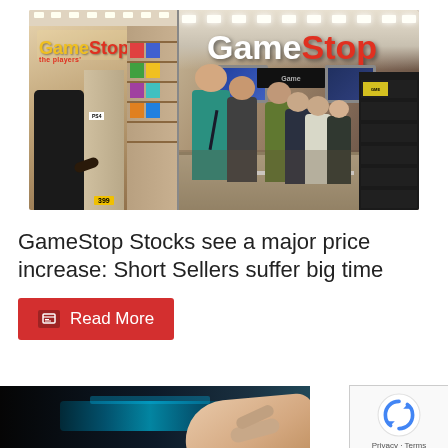[Figure (photo): Two GameStop retail store interior photos side by side. Left: smaller store with yellow/red GameStop logo and shelving with a customer browsing. Right: larger store with white/red GameStop logo, bright ceiling, and multiple customers at the counter.]
GameStop Stocks see a major price increase: Short Sellers suffer big time
Read More
[Figure (photo): Partial view of a dark gaming scene with a person's hand on what appears to be a gaming device or keyboard, partially cut off at bottom of page.]
Privacy · Terms